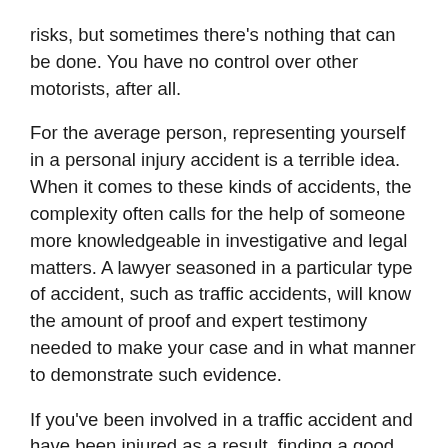risks, but sometimes there's nothing that can be done. You have no control over other motorists, after all.
For the average person, representing yourself in a personal injury accident is a terrible idea. When it comes to these kinds of accidents, the complexity often calls for the help of someone more knowledgeable in investigative and legal matters. A lawyer seasoned in a particular type of accident, such as traffic accidents, will know the amount of proof and expert testimony needed to make your case and in what manner to demonstrate such evidence.
If you've been involved in a traffic accident and have been injured as a result, finding a good attorney to represent you in your efforts to get the right compensation is often a wise idea. How best to do this?